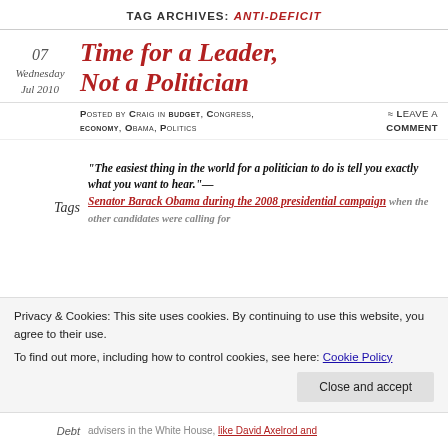TAG ARCHIVES: ANTI-DEFICIT
Time for a Leader, Not a Politician
Posted by Craig in budget, Congress, economy, Obama, Politics ≈ Leave a comment
“The easiest thing in the world for a politician to do is tell you exactly what you want to hear.”—Senator Barack Obama during the 2008 presidential campaign when the other candidates were calling for
Tags
Privacy & Cookies: This site uses cookies. By continuing to use this website, you agree to their use. To find out more, including how to control cookies, see here: Cookie Policy
Close and accept
Debt advisers in the White House, like David Axelrod and